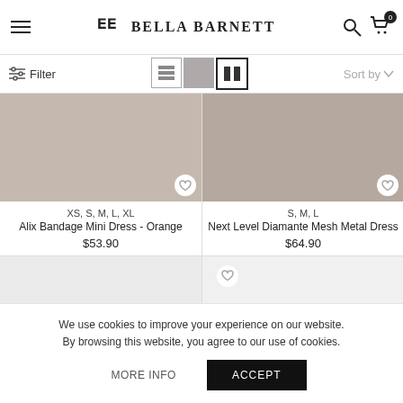[Figure (screenshot): Bella Barnett e-commerce website header with logo, hamburger menu, search icon, and cart icon with badge showing 0]
[Figure (screenshot): Filter toolbar with list/grid view icons and Sort by dropdown]
[Figure (photo): Product image for Alix Bandage Mini Dress - Orange]
XS, S, M, L, XL
Alix Bandage Mini Dress - Orange
$53.90
[Figure (photo): Product image for Next Level Diamante Mesh Metal Dress]
S, M, L
Next Level Diamante Mesh Metal Dress
$64.90
[Figure (photo): Second row product image placeholder left]
[Figure (photo): Second row product image placeholder right with heart wishlist icon]
We use cookies to improve your experience on our website. By browsing this website, you agree to our use of cookies.
MORE INFO
ACCEPT